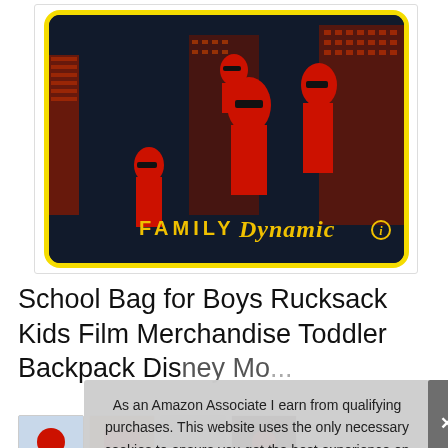[Figure (photo): The Incredibles 2 backpack/lunchbox product image. Black background with yellow border, features the Incredibles superhero family characters in red suits against a dark city skyline background. Text reads 'FAMILY Dynamic' with the Incredibles logo.]
School Bag for Boys Rucksack Kids Film Merchandise Toddler Backpack Dis... Mo...
As an Amazon Associate I earn from qualifying purchases. This website uses the only necessary cookies to ensure you get the best experience on our website. More information